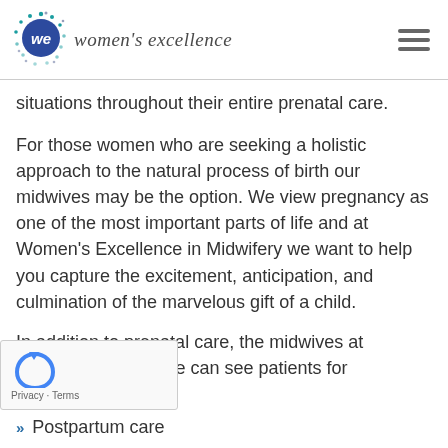Women's Excellence
situations throughout their entire prenatal care.
For those women who are seeking a holistic approach to the natural process of birth our midwives may be the option. We view pregnancy as one of the most important parts of life and at Women's Excellence in Midwifery we want to help you capture the excitement, anticipation, and culmination of the marvelous gift of a child.
In addition to prenatal care, the midwives at Women's Excellence can see patients for
Postpartum care